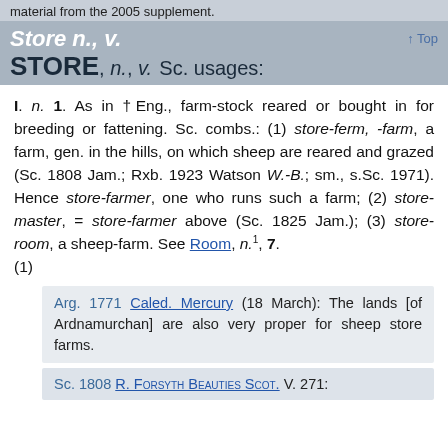material from the 2005 supplement.
Store n., v. STORE, n., v. Sc. usages:
I. n. 1. As in †Eng., farm-stock reared or bought in for breeding or fattening. Sc. combs.: (1) store-ferm, -farm, a farm, gen. in the hills, on which sheep are reared and grazed (Sc. 1808 Jam.; Rxb. 1923 Watson W.-B.; sm., s.Sc. 1971). Hence store-farmer, one who runs such a farm; (2) store-master, = store-farmer above (Sc. 1825 Jam.); (3) store-room, a sheep-farm. See Room, n.1, 7. (1)
Arg. 1771 Caled. Mercury (18 March): The lands [of Ardnamurchan] are also very proper for sheep store farms.
Sc. 1808 R. Forsyth Beauties Scot. V. 271: